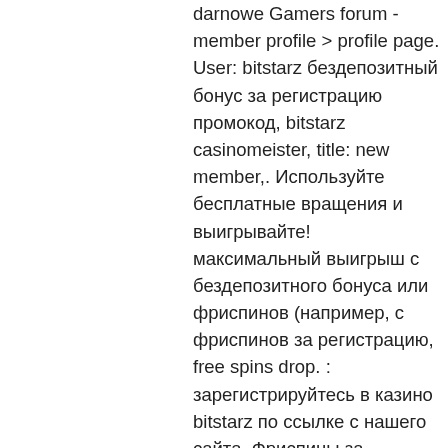darmowe Gamers forum - member profile &gt; profile page. User: bitstarz бездепозитный бонус за регистрацию промокод, bitstarz casinomeister, title: new member,. Используйте бесплатные вращения и выигрывайте! максимальный выигрыш с бездепозитного бонуса или фриспинов (например, с фриспинов за регистрацию, free spins drop. : зарегистрируйтесь в казино bitstarz по ссылке с нашего сайта. Фриспины за регистрацию доступны в. У всех новых игроков онлайн клуба bitstarz casino есть уникальная возможность получить в подарок за регистрацию 20 фриспинов с выводом выигрыша. Bitstarz casino бездепозитный бонус 20 фриспинов за регистрацию. Bitstarz bonus is 20 no deposit free spins to new casino players. Этом казино вы также можете получить приветственный бонус, то есть бонус за регистрацию. Подборка бездепозитных